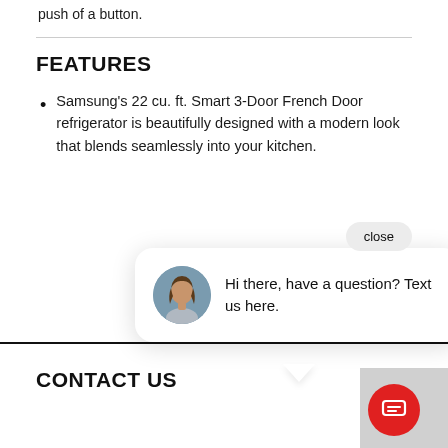push of a button.
FEATURES
Samsung's 22 cu. ft. Smart 3-Door French Door refrigerator is beautifully designed with a modern look that blends seamlessly into your kitchen.
close
Hi there, have a question? Text us here.
CONTACT US